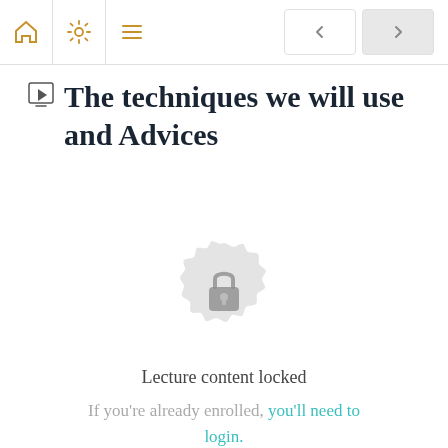Navigation bar with home, settings, menu icons and back/forward buttons
The techniques we will use and Advices
[Figure (illustration): Lock icon inside a decorative circular badge indicating locked lecture content]
Lecture content locked
If you're already enrolled, you'll need to login.